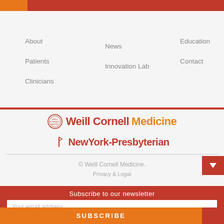About
Patients
Clinicians
News
Innovation Lab
Education
Contact
[Figure (logo): Weill Cornell Medicine logo with university seal]
[Figure (logo): NewYork-Presbyterian logo]
© Weill Cornell Medicine.
Privacy & Legal
Subscribe to our newsletter
Your email address..
SUBSCRIBE